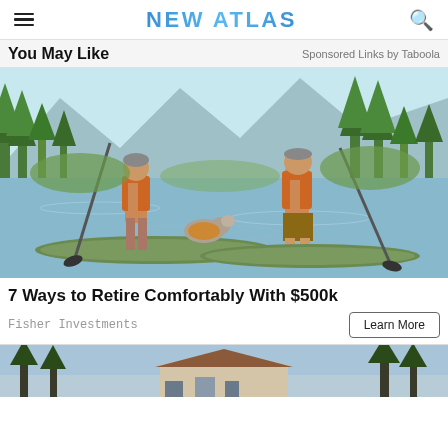NEW ATLAS
You May Like
Sponsored Links by Taboola
[Figure (illustration): Illustration of two people in orange life vests standing on paddleboards on a lake, with a dog sitting between them. Forested mountains visible in the background. Woodcut/engraving style art.]
7 Ways to Retire Comfortably With $500k
Fisher Investments
Learn More
[Figure (illustration): Partial illustration of a house with trees, partially visible at the bottom of the page.]